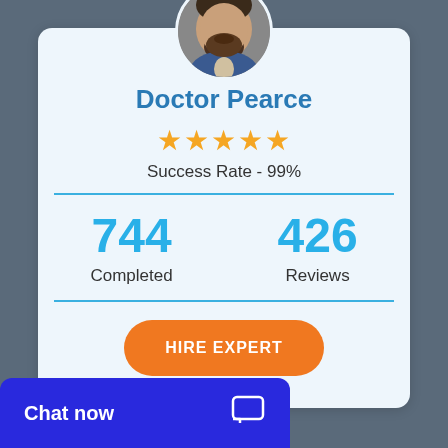[Figure (photo): Circular profile photo of Doctor Pearce, a man with a beard wearing a blue blazer]
Doctor Pearce
★★★★★
Success Rate - 99%
744 Completed
426 Reviews
HIRE EXPERT
Chat now